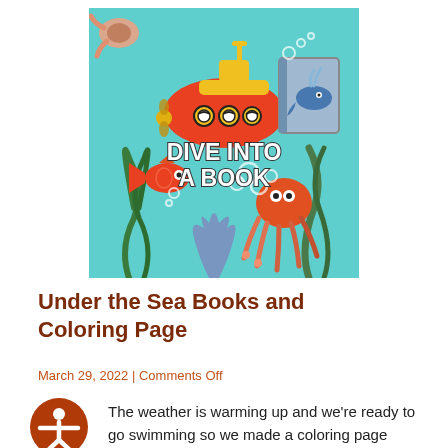[Figure (illustration): Colorful underwater scene illustration with a red and yellow submarine, a whale on a book cover, fish, an octopus, sea plants, and bubbles. White bold text reads 'DIVE INTO A BOOK' on a teal/aqua background.]
Under the Sea Books and Coloring Page
March 29, 2022 | Comments Off
[Figure (logo): Accessibility icon: a white figure with arms outstretched on a dark orange/brown circular background.]
The weather is warming up and we're ready to go swimming so we made a coloring page